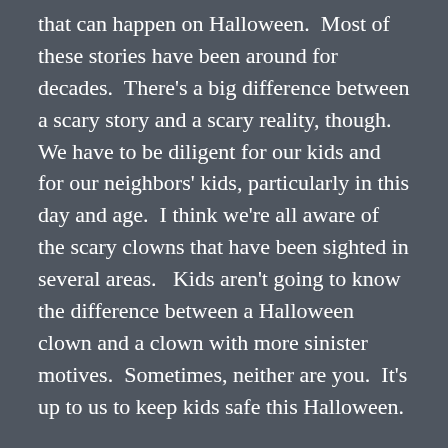that can happen on Halloween.  Most of these stories have been around for decades.  There's a big difference between a scary story and a scary reality, though.  We have to be diligent for our kids and for our neighbors' kids, particularly in this day and age.  I think we're all aware of the scary clowns that have been sighted in several areas.   Kids aren't going to know the difference between a Halloween clown and a clown with more sinister motives.  Sometimes, neither are you.  It's up to us to keep kids safe this Halloween.
Here are a couple of things to keep in mind:
Always go in groups and stay together.  Keep